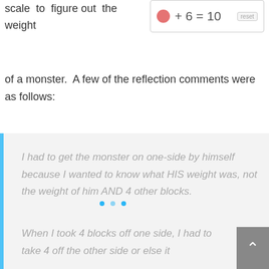[Figure (screenshot): Equation box showing a pink/red monster dot + 6 = 10 with a reset button]
scale to figure out the weight of a monster. A few of the reflection comments were as follows:
I had to get the monster on one-side by himself because I wanted to know what HIS weight was, not the weight of him AND 4 other blocks.
When I took 4 blocks off one side, I had to take 4 off the other side or else it